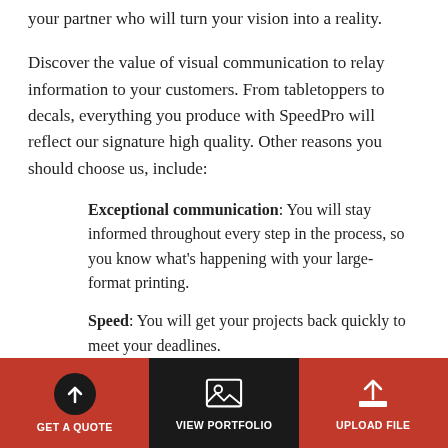your partner who will turn your vision into a reality.
Discover the value of visual communication to relay information to your customers. From tabletoppers to decals, everything you produce with SpeedPro will reflect our signature high quality. Other reasons you should choose us, include:
Exceptional communication: You will stay informed throughout every step in the process, so you know what’s happening with your large-format printing.
Speed: You will get your projects back quickly to meet your deadlines.
Dependability: Your time is valuable, and we
GET A QUOTE | VIEW PORTFOLIO | UPLOAD FILE